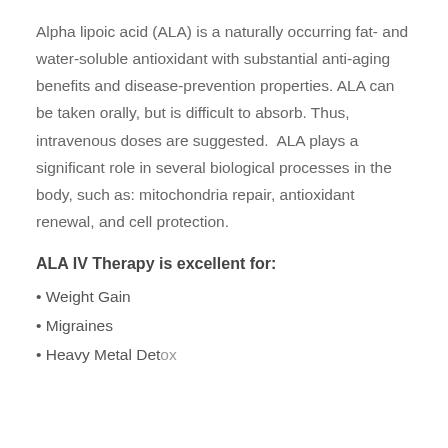Alpha lipoic acid (ALA) is a naturally occurring fat- and water-soluble antioxidant with substantial anti-aging benefits and disease-prevention properties. ALA can be taken orally, but is difficult to absorb. Thus, intravenous doses are suggested.  ALA plays a significant role in several biological processes in the body, such as: mitochondria repair, antioxidant renewal, and cell protection.
ALA IV Therapy is excellent for:
• Weight Gain
• Migraines
• Heavy Metal Detox